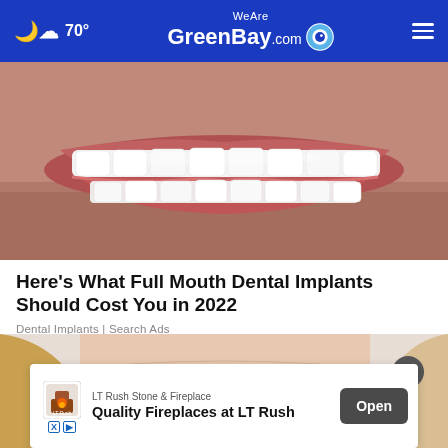WeAreGreenBay.com | 70°
[Figure (photo): Close-up of a man's mouth showing bright white full dental implants, upper and lower teeth visible, stubble on chin]
Here's What Full Mouth Dental Implants Should Cost You in 2022
Dental Implants | Search Ads
[Figure (photo): Close-up of a blonde woman's face showing forehead and eyes area with a worried or pensive expression]
[Figure (screenshot): Ad banner: LT Rush Stone & Fireplace — Quality Fireplaces at LT Rush — Open button]